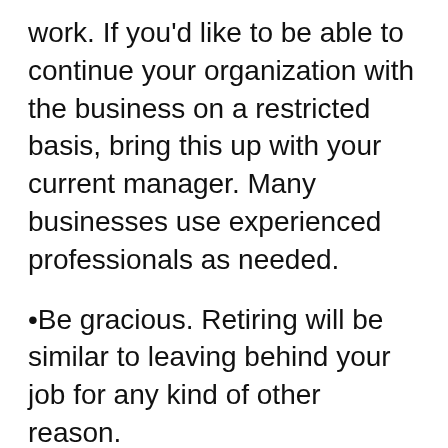work. If you'd like to be able to continue your organization with the business on a restricted basis, bring this up with your current manager. Many businesses use experienced professionals as needed.
•Be gracious. Retiring will be similar to leaving behind your job for any kind of other reason.
•Stay positive. Thank typically the management to your encounter with the organization, and resist typically the temptation to bring up anything unfavorable. There's no reason to air any grievances at this stage.
•Follow up with a conventional letter or